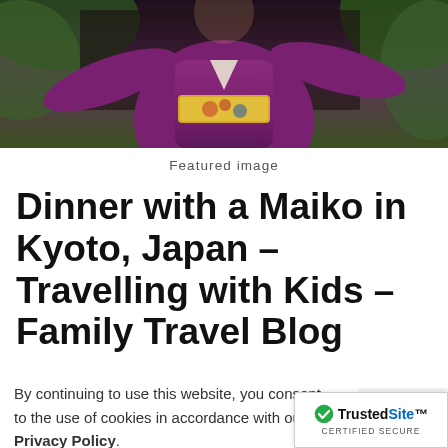[Figure (photo): Person wearing a purple/magenta kimono with colorful obi, posing outdoors with greenery in the background. Only the torso and outstretched arms are visible.]
Featured image
Dinner with a Maiko in Kyoto, Japan – Travelling with Kids – Family Travel Blog
By continuing to use this website, you consent to the use of cookies in accordance with our Privacy Policy.
ACCEPT
/ Tips for
[Figure (logo): TrustedSite CERTIFIED SECURE badge with checkmark icon]